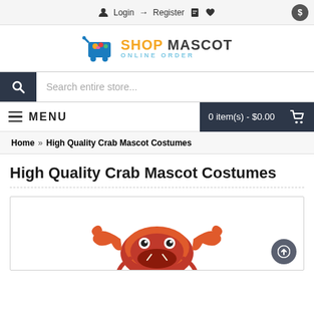Login  →  Register  [doc icon]  [heart icon]  [$]
[Figure (logo): Shop Mascot Online Order logo with blue shopping cart icon filled with colorful items]
Search entire store...
MENU    0 item(s) - $0.00
Home » High Quality Crab Mascot Costumes
High Quality Crab Mascot Costumes
[Figure (photo): Crab mascot costume viewed from above, showing orange/red claws raised up and a round crab head face with googly eyes and small white whiskers on a red shell]